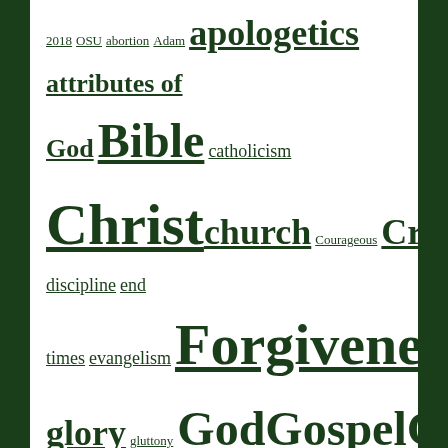[Figure (other): Tag cloud of Christian/religious topics with varying font sizes indicating frequency/importance. Tags include: 2018 OSU, abortion, Adam, apologetics, attributes of God, Bible, catholicism, Christ, church, Courageous, Creation, discipline, end times, evangelism, Forgiveness, glory, gluttony, God, Gospel, Grace, Hollywood, Holy, humility, Jesus, Joy, leadership, logic, Love, Mercy, Movies, Ohio State, Open Air, Oracle, people, power, prayer, preaching, pride, programming, Righteous, savior, Scripture, self-control, sin, witchcraft]